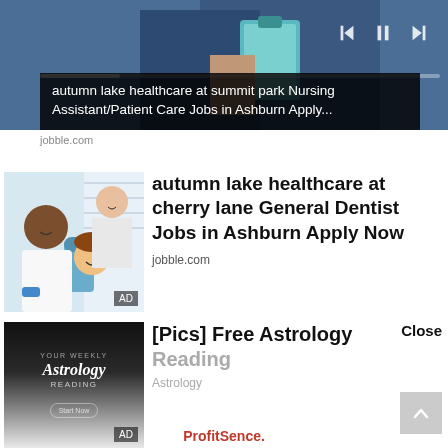[Figure (screenshot): Video thumbnail showing person in blue uniform holding clipboard, with video player controls (skip back, pause, skip forward) and progress bar overlay]
autumn lake healthcare at summit park Nursing Assistant/Patient Care Jobs in Ashburn Apply...
jobble.com
[Figure (photo): Photo of a smiling Black male dentist in white coat with blue gloves, a female dental assistant smiling behind him, and a young child patient in dental chair. AD badge in corner.]
autumn lake healthcare at cherry lane General Dentist Jobs in Ashburn Apply Now
jobble.com
[Figure (illustration): Astrology reading promotional image with 'YOUR WEEKLY Astrology READING' text on dark background fading to light. AD badge in corner.]
[Pics] Free Astrology Reading
Astrology
Close
ProfitSence.